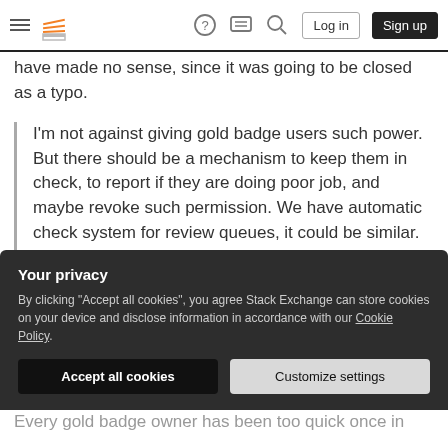Stack Exchange navigation bar with hamburger menu, logo, help, chat, search, Log in, Sign up
have made no sense, since it was going to be closed as a typo.
I'm not against giving gold badge users such power. But there should be a mechanism to keep them in check, to report if they are doing poor job, and maybe revoke such permission. We have automatic check system for review queues, it could be similar.
Your privacy
By clicking "Accept all cookies", you agree Stack Exchange can store cookies on your device and disclose information in accordance with our Cookie Policy.
Accept all cookies  Customize settings
Every gold badge owner has been too quick once in